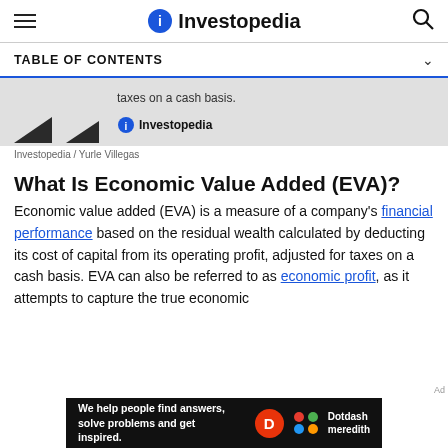Investopedia
TABLE OF CONTENTS
[Figure (screenshot): Partial advertisement image showing solar panels with text 'taxes on a cash basis.' and Investopedia logo]
Investopedia / Yurle Villegas
What Is Economic Value Added (EVA)?
Economic value added (EVA) is a measure of a company's financial performance based on the residual wealth calculated by deducting its cost of capital from its operating profit, adjusted for taxes on a cash basis. EVA can also be referred to as economic profit, as it attempts to capture the true economic
[Figure (other): Dotdash Meredith advertisement banner: 'We help people find answers, solve problems and get inspired.']